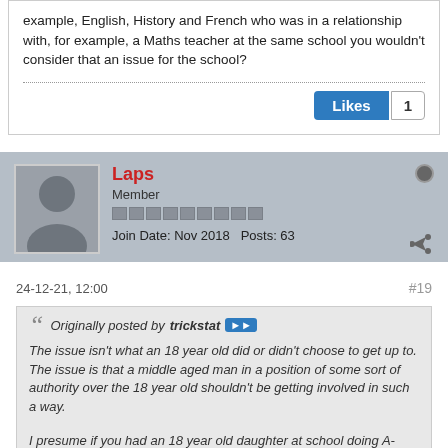example, English, History and French who was in a relationship with, for example, a Maths teacher at the same school you wouldn't consider that an issue for the school?
Likes 1
Laps
Member
Join Date: Nov 2018  Posts: 63
24-12-21, 12:00  #19
Originally posted by trickstat
The issue isn't what an 18 year old did or didn't choose to get up to. The issue is that a middle aged man in a position of some sort of authority over the 18 year old shouldn't be getting involved in such a way.

I presume if you had an 18 year old daughter at school doing A-levels in, for example, English, History and French who was in a relationship with, for example, a Maths teacher at the same school you wouldn't consider that an issue for the school?
No. Probably not.